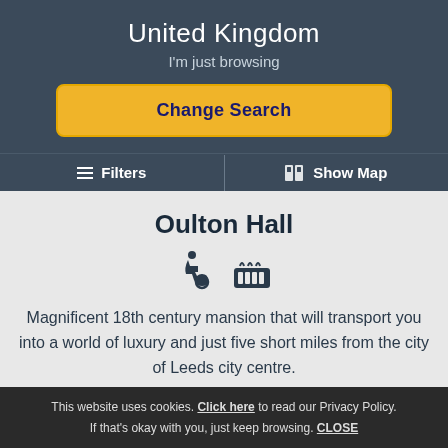United Kingdom
I'm just browsing
Change Search
☰ Filters   | 🗺 Show Map
Oulton Hall
Magnificent 18th century mansion that will transport you into a world of luxury and just five short miles from the city of Leeds city centre.
This website uses cookies. Click here to read our Privacy Policy. If that's okay with you, just keep browsing. CLOSE